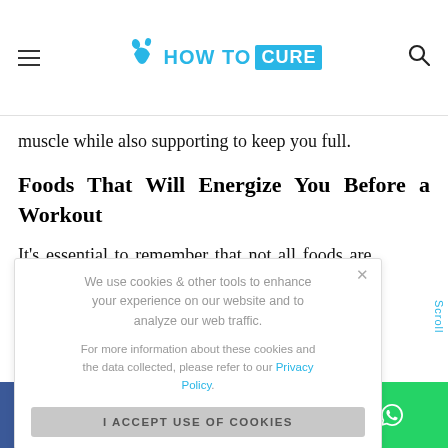HOW TO CURE (logo)
muscle while also supporting to keep you full.
Foods That Will Energize You Before a Workout
It's essential to remember that not all foods are ... choosing the ... go for more ... thing riddled ... cessed fats. ... the list of ... out foods
We use cookies & other tools to enhance your experience on our website and to analyze our web traffic.

For more information about these cookies and the data collected, please refer to our Privacy Policy.

I ACCEPT USE OF COOKIES